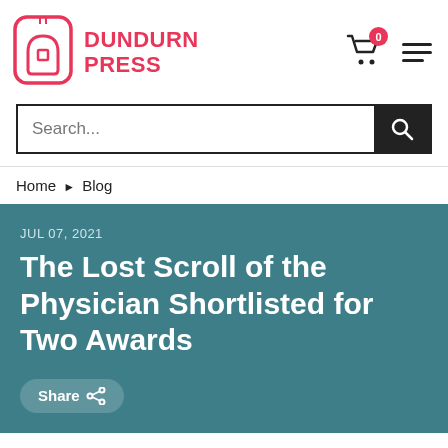[Figure (logo): Dundurn Press logo — red arch/tag icon with text DUNDURN PRESS in red]
DUNDURN PRESS
Search...
Home ▶ Blog
JUL 07, 2021
The Lost Scroll of the Physician Shortlisted for Two Awards
Share